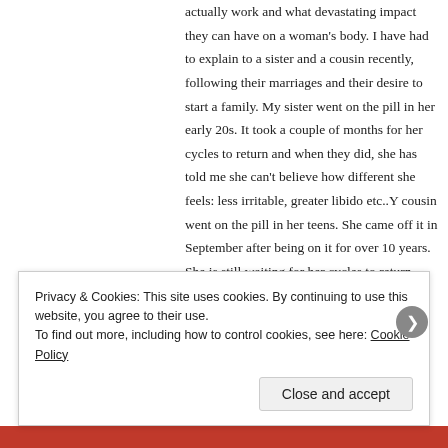actually work and what devastating impact they can have on a woman's body. I have had to explain to a sister and a cousin recently, following their marriages and their desire to start a family. My sister went on the pill in her early 20s. It took a couple of months for her cycles to return and when they did, she has told me she can't believe how different she feels: less irritable, greater libido etc..Y cousin went on the pill in her teens. She came off it in September after being on it for over 10 years. She is still waiting for her cycles to return. Neither knew how a menstrual cycle worked and how the pill worked against this most feminine of things.
Privacy & Cookies: This site uses cookies. By continuing to use this website, you agree to their use. To find out more, including how to control cookies, see here: Cookie Policy
Close and accept